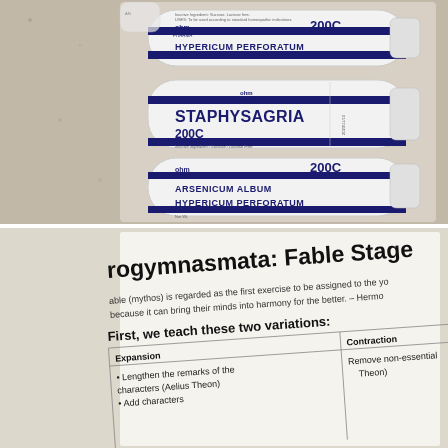[Figure (photo): Three homeopathic remedy tubes from OHM Pharma at 200C potency on a granite surface. Tube 1: HYPERICUM PERFORATUM 200C. Tube 2: STAPHYSAGRIA 200C. Tube 3: ARSENICUM ALBUM / HYPERICUM PERFORATUM 200C.]
[Figure (photo): Photograph of a printed document page titled 'Progymnasmata: Fable Stage' showing text about fable (mythos) and a two-column table with Expansion and Contraction variations.]